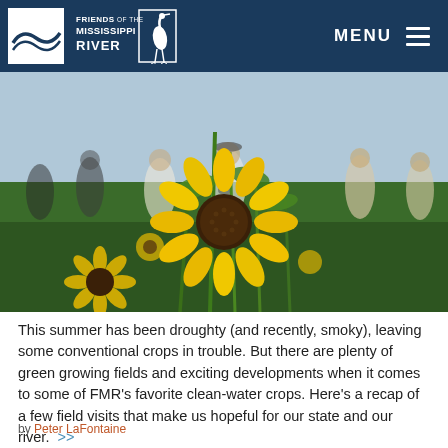FRIENDS OF THE MISSISSIPPI RIVER | MENU
[Figure (photo): Group of people standing in a field of yellow sunflowers, with a large sunflower in focus in the foreground. Outdoor summer scene.]
This summer has been droughty (and recently, smoky), leaving some conventional crops in trouble. But there are plenty of green growing fields and exciting developments when it comes to some of FMR's favorite clean-water crops. Here's a recap of a few field visits that make us hopeful for our state and our river.  >>
by Peter LaFontaine